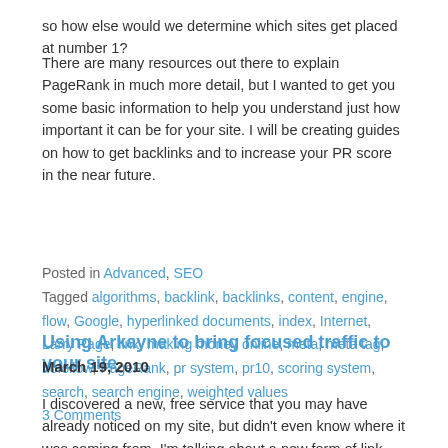so how else would we determine which sites get placed at number 1?
There are many resources out there to explain PageRank in much more detail, but I wanted to get you some basic information to help you understand just how important it can be for your site. I will be creating guides on how to get backlinks and to increase your PR score in the near future.
Posted in Advanced, SEO
Tagged algorithms, backlink, backlinks, content, engine, flow, Google, hyperlinked documents, index, Internet, Larry Page, link, making money online, meta, meta tag, nofollow, PageRank, pr system, pr10, scoring system, search, search engine, weighted values
3 Comments
Using Arkayne to bring focused traffic to your site
March 19, 2010
I discovered a new, free service that you may have already noticed on my site, but didn't even know where it was coming from. I'm talking about a new form of link building that actually makes sense. It's called Arkayne and the two best things about it are: it's free and it integrates